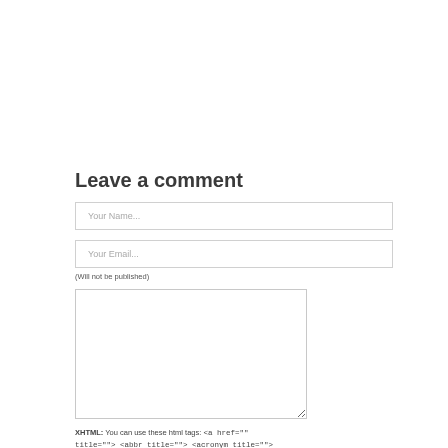Leave a comment
Your Name...
Your Email...
(Will not be published)
XHTML: You can use these html tags: <a href="" title=""> <abbr title=""> <acronym title=""> <b> <blockquote cite=""> <cite> <code> <del